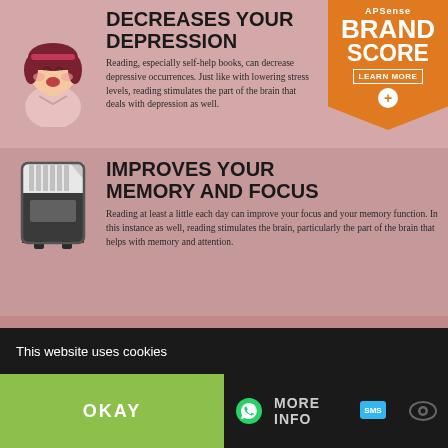DECREASES YOUR DEPRESSION
Reading, especially self-help books, can decrease depressive occurrences. Just like with lowering stress levels, reading stimulates the part of the brain that deals with depression as well.
[Figure (illustration): APSense Brand Score badge - orange pentagon shaped badge with text APSense, BRAND, SCORE, LEARN MORE]
[Figure (illustration): Cartoon illustration of a sad girl with dark hair]
IMPROVES YOUR MEMORY AND FOCUS
Reading at least a little each day can improve your focus and your memory function. In this instance as well, reading stimulates the brain, particularly the part of the brain that helps with memory and attention.
[Figure (illustration): Illustration of an SD memory card]
STRENGTHENS YOUR WRITING ABILITIES
Whether you write things for work or just for fun, heavy reading can improve your writing skills and abilities. There are several ways in which reading can help strengthen your writing skills, and each of these ways happens without you
[Figure (illustration): Illustration of two people writing in a notebook with coffee]
This website uses cookies
OKAY
MORE INFO